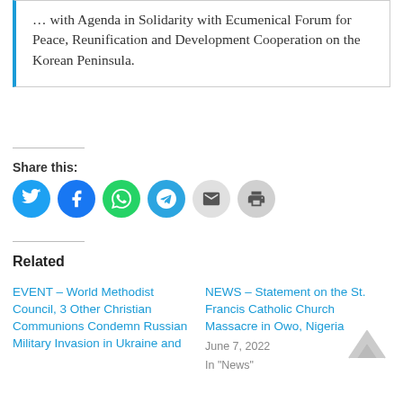… with Agenda in Solidarity with Ecumenical Forum for Peace, Reunification and Development Cooperation on the Korean Peninsula.
Share this:
[Figure (infographic): Social sharing icons: Twitter (blue), Facebook (blue), WhatsApp (green), Telegram (blue), Email (gray), Print (gray)]
Related
EVENT – World Methodist Council, 3 Other Christian Communions Condemn Russian Military Invasion in Ukraine and
NEWS – Statement on the St. Francis Catholic Church Massacre in Owo, Nigeria
June 7, 2022
In "News"